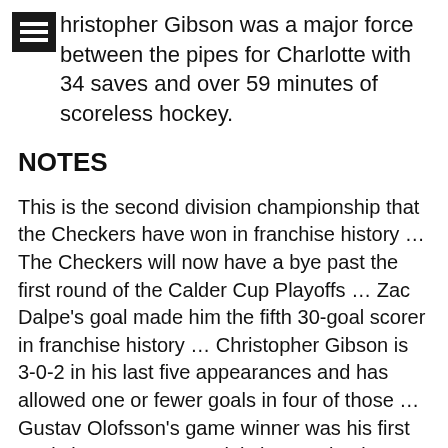Christopher Gibson was a major force between the pipes for Charlotte with 34 saves and over 59 minutes of scoreless hockey.
NOTES
This is the second division championship that the Checkers have won in franchise history … The Checkers will now have a bye past the first round of the Calder Cup Playoffs … Zac Dalpe's goal made him the fifth 30-goal scorer in franchise history … Christopher Gibson is 3-0-2 in his last five appearances and has allowed one or fewer goals in four of those … Gustav Olofsson's game winner was his first goal since Nov. 21 … Aleksi Heponiemi extended his assist streak to three games … The Checkers finished their season series against Providence with a 4-2-0-0 record, with five of the six games being decided by one point … Grigori Denisenko and Max Gildon missed the game due to injury … Luke